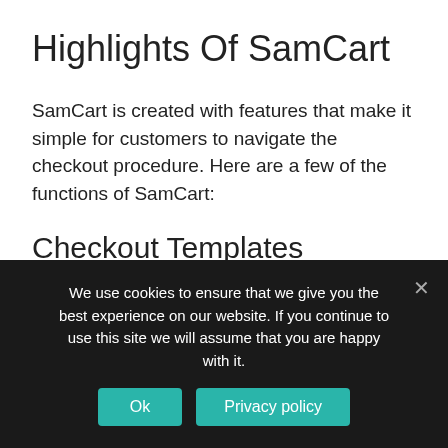Highlights Of SamCart
SamCart is created with features that make it simple for customers to navigate the checkout procedure. Here are a few of the functions of SamCart:
Checkout Templates
It's to produce checkout functions utilizing SamCart thanks to numerous different
We use cookies to ensure that we give you the best experience on our website. If you continue to use this site we will assume that you are happy with it.